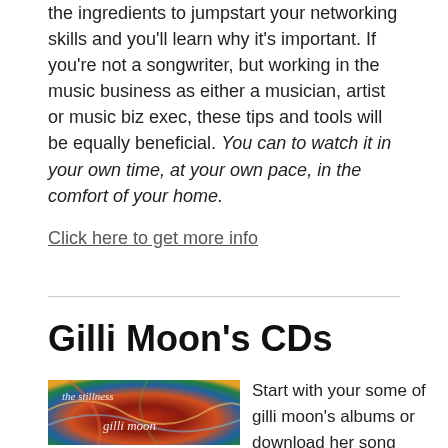the ingredients to jumpstart your networking skills and you'll learn why it's important. If you're not a songwriter, but working in the music business as either a musician, artist or music biz exec, these tips and tools will be equally beneficial. You can to watch it in your own time, at your own pace, in the comfort of your home.
Click here to get more info
Gilli Moon's CDs
[Figure (photo): Album cover for 'the stillness' by gilli moon — colorful swirling abstract art with text overlay]
Start with your some of gilli moon's albums or download her song singles or join the